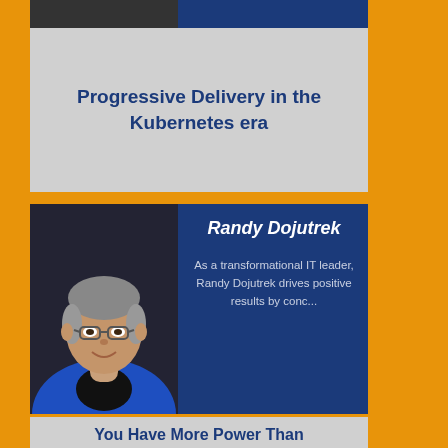[Figure (photo): Top card showing a dark image cropped at top, with a light gray card below containing a title]
Progressive Delivery in the Kubernetes era
[Figure (photo): Profile card of Randy Dojutrek showing a photo of a man with glasses wearing a blue jacket on the left, and name and bio text on a dark blue background on the right]
Randy Dojutrek
As a transformational IT leader, Randy Dojutrek drives positive results by conc...
You Have More Power Than